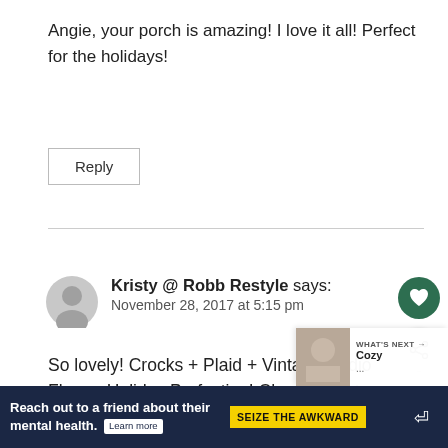Angie, your porch is amazing! I love it all! Perfect for the holidays!
Reply
Kristy @ Robb Restyle says: November 28, 2017 at 5:15 pm
So lovely! Crocks + Plaid + Vintage Radio Flyer = Holiday Perfection! Cheers! Kristy
Reply
WHAT'S NEXT → Cozy ...
Reach out to a friend about their mental health. Learn more SEIZE THE AWKWARD